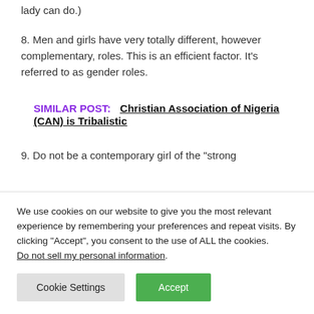lady can do.)
8. Men and girls have very totally different, however complementary, roles. This is an efficient factor. It’s referred to as gender roles.
SIMILAR POST:   Christian Association of Nigeria (CAN) is Tribalistic
9. Do not be a contemporary girl of the “strong
We use cookies on our website to give you the most relevant experience by remembering your preferences and repeat visits. By clicking “Accept”, you consent to the use of ALL the cookies. Do not sell my personal information.